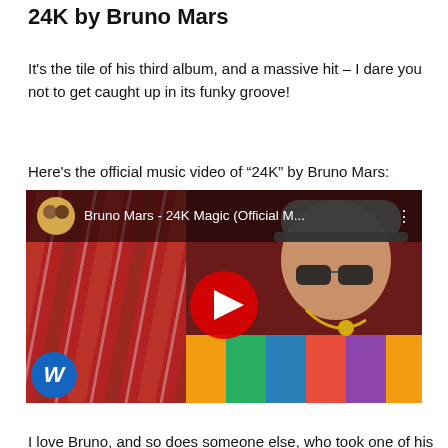24K by Bruno Mars
It's the tile of his third album, and a massive hit – I dare you not to get caught up in its funky groove!
Here's the official music video of “24K” by Bruno Mars:
[Figure (screenshot): YouTube video thumbnail for Bruno Mars - 24K Magic (Official M... showing Bruno Mars wearing sunglasses and a colorful shirt, with a red play button in the center, Warner Music channel icon in top left, and Warner logo in bottom left.]
I love Bruno, and so does someone else, who took one of his classic songs and married it to vintage movie clips